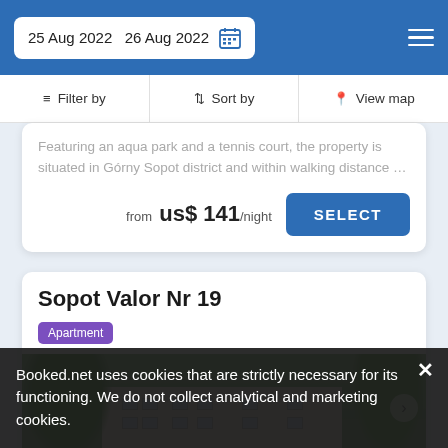25 Aug 2022   26 Aug 2022
Filter by   Sort by   View map
Featuring an aqua park and a tennis court, the property is situated in Górny Sopot district and within walking distance …
from  us$ 141 /night   SELECT
Sopot Valor Nr 19
Apartment
[Figure (photo): Exterior photo of Sopot Valor Nr 19 apartment building, a beige/pink multi-storey building surrounded by green trees]
Booked.net uses cookies that are strictly necessary for its functioning. We do not collect analytical and marketing cookies.